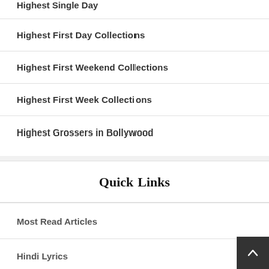Highest Single Day
Highest First Day Collections
Highest First Weekend Collections
Highest First Week Collections
Highest Grossers in Bollywood
Quick Links
Most Read Articles
Hindi Lyrics
Movie Release Dates